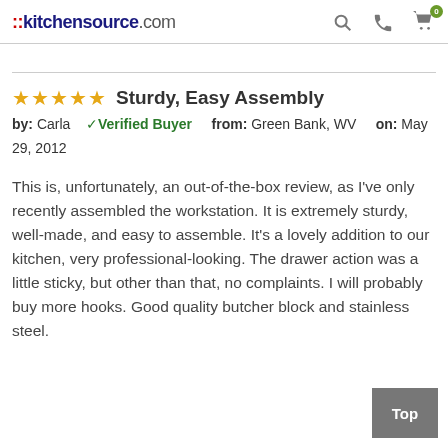::kitchensource.com
Sturdy, Easy Assembly
by: Carla ✓Verified Buyer from: Green Bank, WV on: May 29, 2012
This is, unfortunately, an out-of-the-box review, as I've only recently assembled the workstation. It is extremely sturdy, well-made, and easy to assemble. It's a lovely addition to our kitchen, very professional-looking. The drawer action was a little sticky, but other than that, no complaints. I will probably buy more hooks. Good quality butcher block and stainless steel.